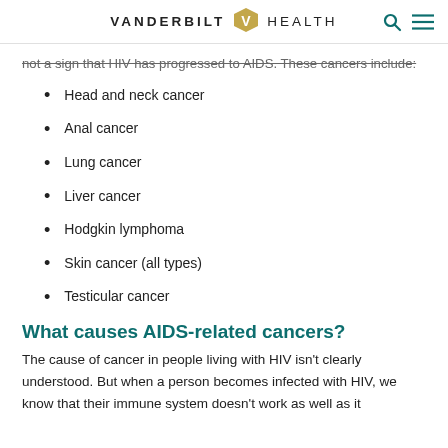VANDERBILT HEALTH
not a sign that HIV has progressed to AIDS. These cancers include:
Head and neck cancer
Anal cancer
Lung cancer
Liver cancer
Hodgkin lymphoma
Skin cancer (all types)
Testicular cancer
What causes AIDS-related cancers?
The cause of cancer in people living with HIV isn't clearly understood. But when a person becomes infected with HIV, we know that their immune system doesn't work as well as it should. This puts them at higher risk for infections and...